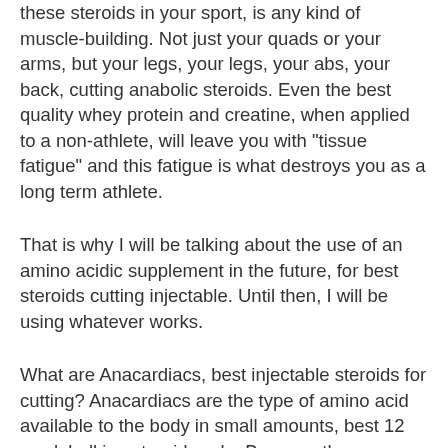these steroids in your sport, is any kind of muscle-building. Not just your quads or your arms, but your legs, your legs, your abs, your back, cutting anabolic steroids. Even the best quality whey protein and creatine, when applied to a non-athlete, will leave you with "tissue fatigue" and this fatigue is what destroys you as a long term athlete.
That is why I will be talking about the use of an amino acidic supplement in the future, for best steroids cutting injectable. Until then, I will be using whatever works.
What are Anacardiacs, best injectable steroids for cutting? Anacardiacs are the type of amino acid available to the body in small amounts, best 12 week bulking steroid cycle. Because they are naturally occurring amino acids, they are not dependent on a protein that you have eaten and you are able